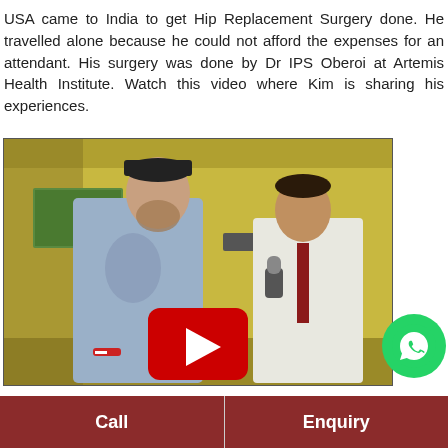USA came to India to get Hip Replacement Surgery done. He travelled alone because he could not afford the expenses for an attendant. His surgery was done by Dr IPS Oberoi at Artemis Health Institute. Watch this video where Kim is sharing his experiences.
[Figure (photo): Video thumbnail showing two men in a hospital room — a Western patient in casual clothes and a baseball cap, and an interviewer in a white shirt and red tie holding a microphone. A YouTube play button overlay is shown in the center.]
Call
Enquiry